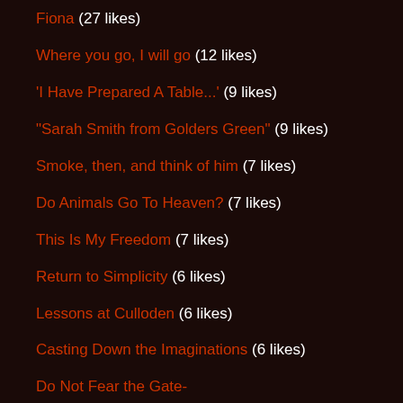Fiona  (27 likes)
Where you go, I will go  (12 likes)
'I Have Prepared A Table...'  (9 likes)
"Sarah Smith from Golders Green"  (9 likes)
Smoke, then, and think of him  (7 likes)
Do Animals Go To Heaven?  (7 likes)
This Is My Freedom  (7 likes)
Return to Simplicity  (6 likes)
Lessons at Culloden  (6 likes)
Casting Down the Imaginations  (6 likes)
Do Not Fear the Gate-